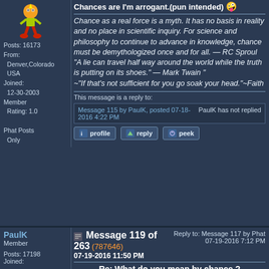Chances are I'm arrogant.(pun intended)
Posts: 16173
From:
  Denver,Colorado
  USA
Joined:
  12-30-2003
Member Rating: 1.0

Phat Posts Only
Chance as a real force is a myth. It has no basis in reality and no place in scientific inquiry. For science and philosophy to continue to advance in knowledge, chance must be demythologized once and for all. — RC Sproul
"A lie can travel half way around the world while the truth is putting on its shoes." — Mark Twain "
~"If that's not sufficient for you go soak your head."~Faith
This message is a reply to:
Message 115 by PaulK, posted 07-18-2016 4:22 PM
PaulK has not replied
profile   reply   peek
PaulK
Member

Posts: 17198
Joined:
Message 119 of 263 (787646)
07-19-2016 11:50 PM
Reply to: Message 117 by Phat
07-19-2016 7:12 PM
Re: What do you mean by chance ?